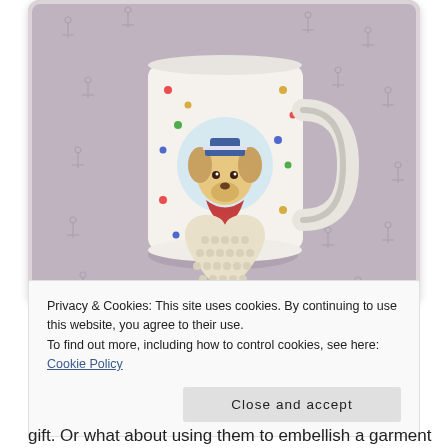[Figure (photo): A white ceramic mug with colorful polka dots and a painted dog wearing a sailor hat, sitting on a grey fabric with anchor patterns. Next to the mug is a heart-shaped crocheted/knitted coaster in cream/white color.]
Privacy & Cookies: This site uses cookies. By continuing to use this website, you agree to their use.
To find out more, including how to control cookies, see here: Cookie Policy
Close and accept
gift. Or what about using them to embellish a garment